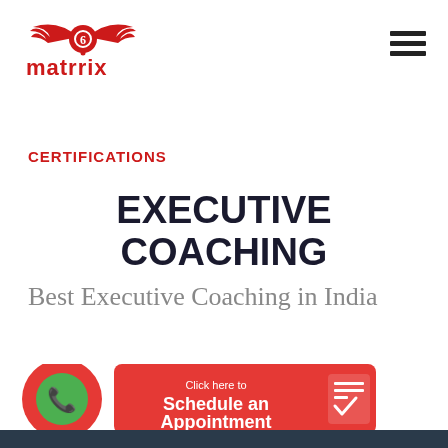[Figure (logo): Matrrix logo with winged emblem in red and text 'matrrix' in red below]
[Figure (other): Hamburger menu icon (three horizontal lines) in top right corner]
CERTIFICATIONS
EXECUTIVE COACHING
Best Executive Coaching in India
[Figure (other): Red circular WhatsApp phone button on the left, and a red rectangular 'Click here to Schedule an Appointment' button with calendar icon on the right]
[Figure (photo): Partial photo visible at the bottom of the page]